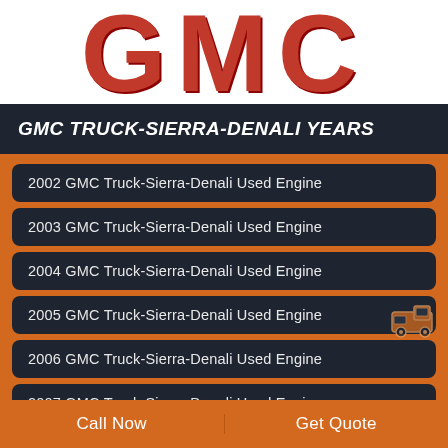[Figure (logo): GMC red logo in large bold text on white background]
GMC TRUCK-SIERRA-DENALI YEARS
2002 GMC Truck-Sierra-Denali Used Engine
2003 GMC Truck-Sierra-Denali Used Engine
2004 GMC Truck-Sierra-Denali Used Engine
2005 GMC Truck-Sierra-Denali Used Engine
2006 GMC Truck-Sierra-Denali Used Engine
2007 GMC Truck-Sierra-Denali Used Engine
2008 GMC Truck-Sierra-Denali Used Engine
Call Now   Get Quote